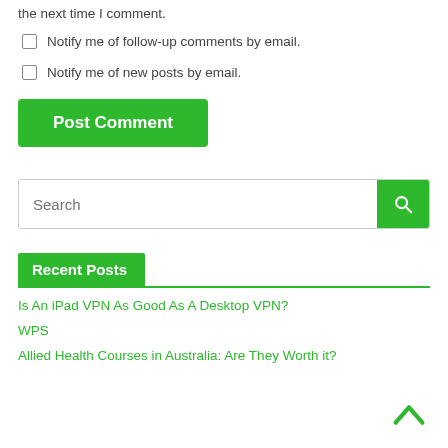the next time I comment.
Notify me of follow-up comments by email.
Notify me of new posts by email.
Post Comment
Search
Recent Posts
Is An iPad VPN As Good As A Desktop VPN?
WPS
Allied Health Courses in Australia: Are They Worth it?